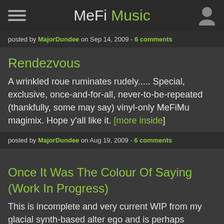MeFi Music
posted by MajorDundee on Sep 14, 2009 - 6 comments
Rendezvous
A wrinkled roue ruminates rudely..... Special, exclusive, once-and-for-all, never-to-be-repeated (thankfully, some may say) vinyl-only MeFiMu magimix. Hope y'all like it. [more inside]
posted by MajorDundee on Aug 19, 2009 - 6 comments
Once It Was The Colour Of Saying (Work In Progress)
This is incomplete and very current WIP from my glacial synth-based alter ego and is perhaps something of a companion piece to White Feather, I'd really appreciate...